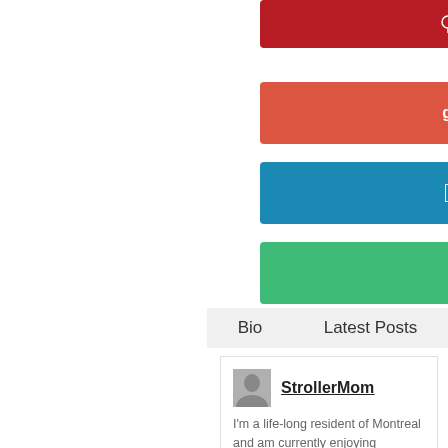[Figure (infographic): Pinterest share button - dark red/crimson background with Pinterest pin icon and text PINTEREST]
[Figure (infographic): Google+ share button - coral/orange-red background with G+ icon and text GOOGLE +]
[Figure (infographic): LinkedIn share button - blue background with 'in' icon and text LINKEDIN]
[Figure (infographic): Email share button - green background with envelope icon and text EMAIL]
Bio
Latest Posts
StrollerMom
I'm a life-long resident of Montreal and am currently enjoying rediscovering the city with my 8-year old and almost 13-year old.